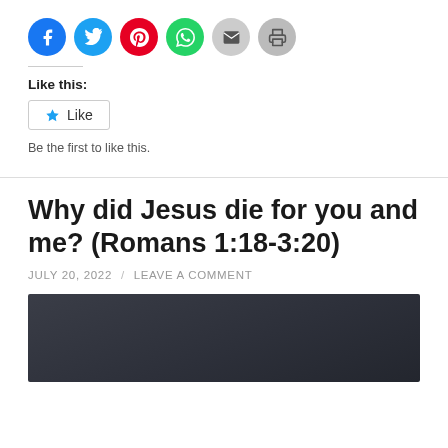[Figure (other): Row of six social sharing icon circles: Facebook (blue), Twitter (blue), Pinterest (red), WhatsApp (green), Email (grey), Print (grey)]
Like this:
[Figure (other): Like button with star icon]
Be the first to like this.
Why did Jesus die for you and me?  (Romans 1:18-3:20)
JULY 20, 2022 / LEAVE A COMMENT
[Figure (photo): Dark grey/charcoal background image, partially visible at bottom of page]